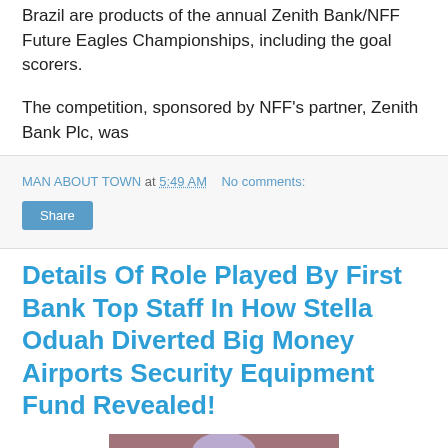...match to the 2013 FIFA U-17 World Cup tournament in Brazil are products of the annual Zenith Bank/NFF Future Eagles Championships, including the goal scorers.
The competition, sponsored by NFF's partner, Zenith Bank Plc, was
MAN ABOUT TOWN at 5:49 AM   No comments:
Share
Details Of Role Played By First Bank Top Staff In How Stella Oduah Diverted Big Money Airports Security Equipment Fund Revealed!
[Figure (photo): Photo of a person wearing a purple/lavender head wrap or turban]